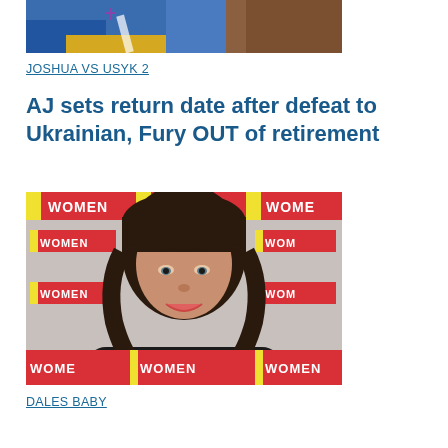[Figure (photo): Top portion of a boxing photo showing fighters, one in blue attire]
JOSHUA VS USYK 2
AJ sets return date after defeat to Ukrainian, Fury OUT of retirement
[Figure (photo): Woman with dark wavy hair smiling at a Loose Women media event backdrop]
DALES BABY